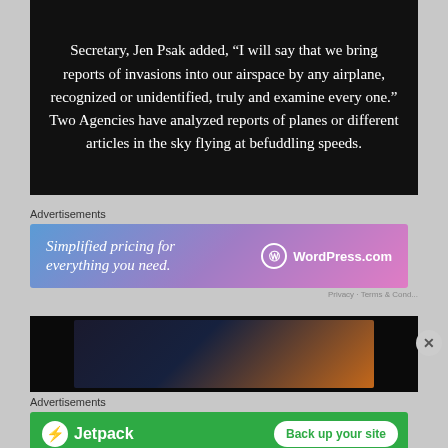Secretary, Jen Psak added, “I will say that we bring reports of invasions into our airspace by any airplane, recognized or unidentified, truly and examine every one.” Two Agencies have analyzed reports of planes or different articles in the sky flying at befuddling speeds.
Advertisements
[Figure (screenshot): WordPress.com advertisement banner: 'Simplified pricing for everything you need.' with WordPress.com logo]
[Figure (photo): Dark video thumbnail showing interior of a vehicle with orange/sunset lighting]
Advertisements
[Figure (screenshot): Jetpack advertisement banner: 'Back up your site' with green background and Jetpack logo]